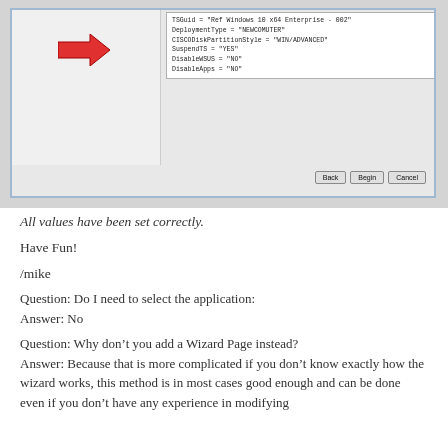[Figure (screenshot): A screenshot of a deployment wizard dialog showing configuration values: TSGuid, DeploymentType, CISCODiskPartitionStyle, SuspendTS, DisableWSUS, DisableApps. A red arrow points to the values panel. Buttons: Back, Begin, Cancel.]
All values have been set correctly.
Have Fun!
/mike
Question: Do I need to select the application:
Answer: No
Question: Why don’t you add a Wizard Page instead?
Answer: Because that is more complicated if you don’t know exactly how the wizard works, this method is in most cases good enough and can be done even if you don’t have any experience in modifying